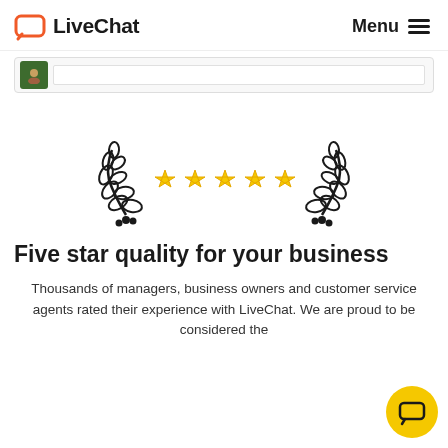LiveChat  Menu
[Figure (screenshot): Chat bar UI element with avatar icon]
[Figure (illustration): Five gold stars with laurel wreath decorative border on either side]
Five star quality for your business
Thousands of managers, business owners and customer service agents rated their experience with LiveChat. We are proud to be considered the